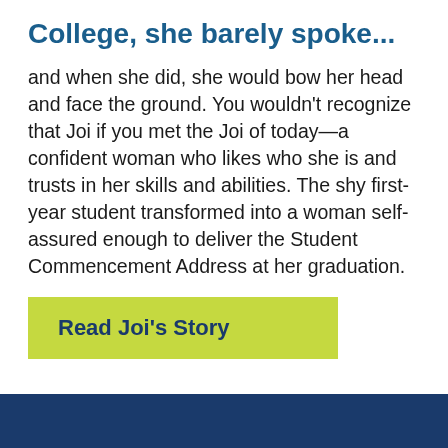College, she barely spoke...
and when she did, she would bow her head and face the ground. You wouldn't recognize that Joi if you met the Joi of today—a confident woman who likes who she is and trusts in her skills and abilities. The shy first-year student transformed into a woman self-assured enough to deliver the Student Commencement Address at her graduation.
Read Joi's Story